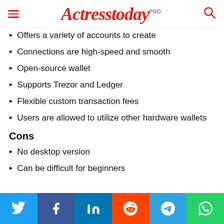Actresstoday PRO
Offers a variety of accounts to create
Connections are high-speed and smooth
Open-source wallet
Supports Trezor and Ledger
Flexible custom transaction fees
Users are allowed to utilize other hardware wallets
Cons
No desktop version
Can be difficult for beginners